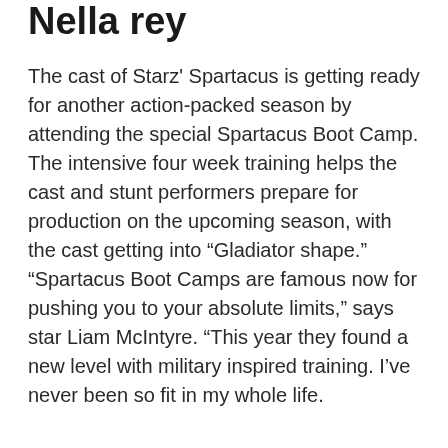Nella rey
The cast of Starz' Spartacus is getting ready for another action-packed season by attending the special Spartacus Boot Camp. The intensive four week training helps the cast and stunt performers prepare for production on the upcoming season, with the cast getting into “Gladiator shape.” “Spartacus Boot Camps are famous now for pushing you to your absolute limits,” says star Liam McIntyre. “This year they found a new level with military inspired training. I’ve never been so fit in my whole life.
Toronto, Canada - Personeriasm 647-778 Phone